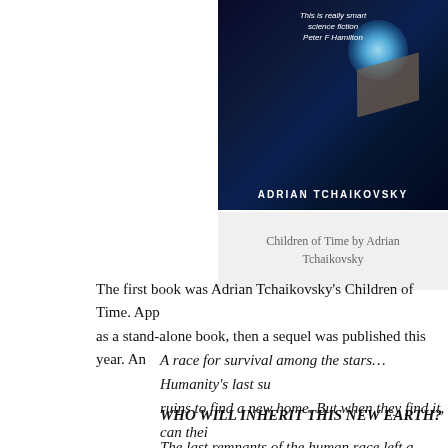[Figure (illustration): Book cover of 'Children of Time' by Adrian Tchaikovsky showing a spaceship and glowing orb against a dark space background with the author name in large letters]
Children of Time by Adrian Tchaikovsky
The first book was Adrian Tchaikovsky's Children of Time. App as a stand-alone book, then a sequel was published this year. An
A race for survival among the stars… Humanity's last su ruins to find a new home. But when they find it, can thei dangers?
WHO WILL INHERIT THIS NEW EARTH?
The last remnants of the human race left a dying Earth,